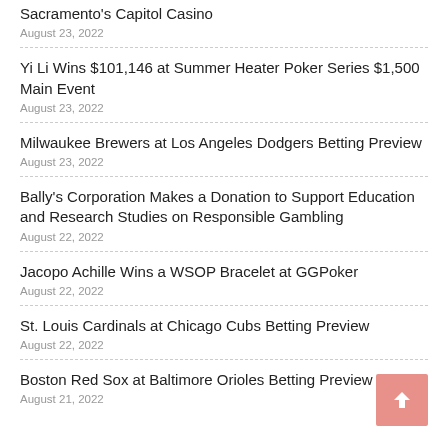Sacramento's Capitol Casino
August 23, 2022
Yi Li Wins $101,146 at Summer Heater Poker Series $1,500 Main Event
August 23, 2022
Milwaukee Brewers at Los Angeles Dodgers Betting Preview
August 23, 2022
Bally's Corporation Makes a Donation to Support Education and Research Studies on Responsible Gambling
August 22, 2022
Jacopo Achille Wins a WSOP Bracelet at GGPoker
August 22, 2022
St. Louis Cardinals at Chicago Cubs Betting Preview
August 22, 2022
Boston Red Sox at Baltimore Orioles Betting Preview
August 21, 2022